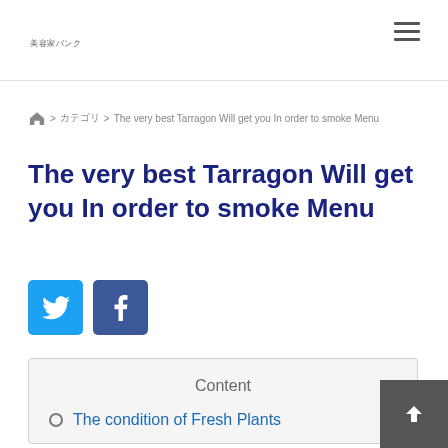美容家バンク
ホーム > カテゴリ > The very best Tarragon Will get you In order to smoke Menu
The very best Tarragon Will get you In order to smoke Menu
[Figure (infographic): Twitter and Facebook social share buttons]
Content
The condition of Fresh Plants